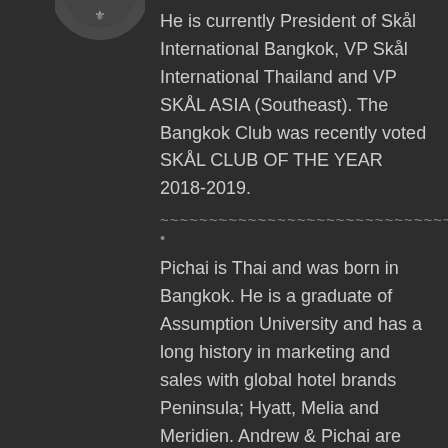[Figure (logo): Circular logo/emblem at top left, partially visible]
He is currently President of Skål International Bangkok, VP Skål International Thailand and VP SKÅL ASIA (Southeast). The Bangkok Club was recently voted SKÅL CLUB OF THE YEAR 2018-2019.
~~~~~~~~~~~~~~~~~~~~~~~~~~~~~~ •
Pichai is Thai and was born in Bangkok. He is a graduate of Assumption University and has a long history in marketing and sales with global hotel brands Peninsula; Hyatt, Melia and Meridien. Andrew & Pichai are both members of SKÅL International and both are travel junkies. Andrew & Pichai are not only globally connected, but are also widely connected locally with Thailand's Travel Agent community